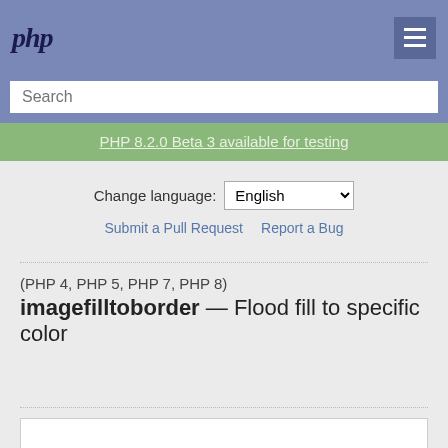php
Search
PHP 8.2.0 Beta 3 available for testing
Change language: English
Submit a Pull Request   Report a Bug
(PHP 4, PHP 5, PHP 7, PHP 8)
imagefilltoborder — Flood fill to specific color